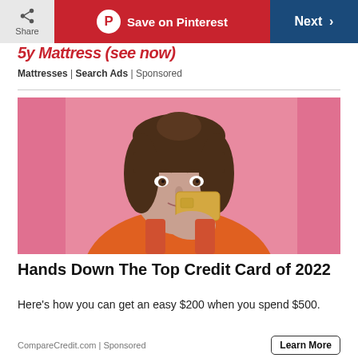Share | Save on Pinterest | Next
5y Mattress (see now)
Mattresses | Search Ads | Sponsored
[Figure (photo): Young woman with bangs holding a gold credit card up near her face, smiling subtly, against a pink background, wearing an orange top]
Hands Down The Top Credit Card of 2022
Here's how you can get an easy $200 when you spend $500.
CompareCredit.com | Sponsored